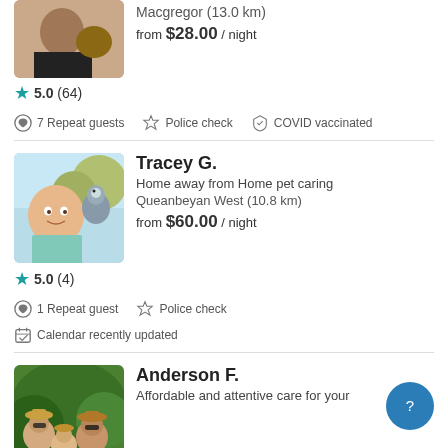[Figure (photo): Partial photo of a woman with a dog, top of page]
Macgregor (13.0 km)
from $28.00 / night
★5.0 (64)
7 Repeat guests   Police check   COVID vaccinated
Tracey G.
Home away from Home pet caring
Queanbeyan West (10.8 km)
from $60.00 / night
[Figure (photo): Photo of Tracey G. smiling with an animal outdoors]
★5.0 (4)
1 Repeat guest   Police check
Calendar recently updated
Anderson F.
Affordable and attentive care for your
[Figure (photo): Partial photo of Anderson F. family outdoors with hats]